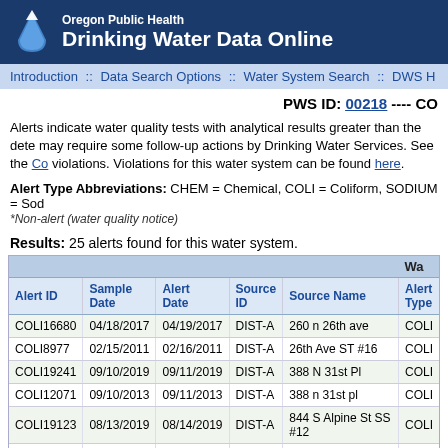Oregon Public Health Drinking Water Data Online
Introduction :: Data Search Options :: Water System Search :: DWS H
PWS ID: 00218 ---- CO
Alerts indicate water quality tests with analytical results greater than the dete may require some follow-up actions by Drinking Water Services. See the Co violations. Violations for this water system can be found here.
Alert Type Abbreviations: CHEM = Chemical, COLI = Coliform, SODIUM = Sod
*Non-alert (water quality notice)
Results: 25 alerts found for this water system.
| Alert ID | Sample Date | Alert Date | Source ID | Source Name | Alert Type |
| --- | --- | --- | --- | --- | --- |
| COLI16680 | 04/18/2017 | 04/19/2017 | DIST-A | 260 n 26th ave | COLI |
| COLI8977 | 02/15/2011 | 02/16/2011 | DIST-A | 26th Ave ST #16 | COLI |
| COLI19241 | 09/10/2019 | 09/11/2019 | DIST-A | 388 N 31st Pl | COLI |
| COLI12071 | 09/10/2013 | 09/11/2013 | DIST-A | 388 n 31st pl | COLI |
| COLI19123 | 08/13/2019 | 08/14/2019 | DIST-A | 844 S Alpine St SS #12 | COLI |
| COLI19269 | 09/17/2019 | 09/18/2019 | DIST-A | 901 S 1st ave | COLI |